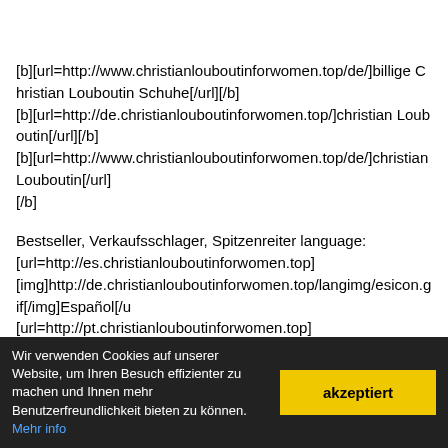[b][url=http://www.christianlouboutinforwomen.top/de/]billige Christian Louboutin Schuhe[/url][/b]
[b][url=http://de.christianlouboutinforwomen.top/]christian Louboutin[/url][/b]
[b][url=http://www.christianlouboutinforwomen.top/de/]christian Louboutin[/url][/b]
Bestseller, Verkaufsschlager, Spitzenreiter language:
[url=http://es.christianlouboutinforwomen.top]
[img]http://de.christianlouboutinforwomen.top/langimg/esicon.gif[/img]Español[/u
[url=http://pt.christianlouboutinforwomen.top]
[img]http://de.christianlouboutinforwomen.top/langimg/pticon.gif[/img]Português[
[url=http://jp.christianlouboutinforwomen.top]
[img]http://de.christianlouboutinforwomen.top/langimg/jpicon.gif[/img]日本語[/url]
[url=http://ru.christianlouboutinforwomen.top]
[img]http://de.christianlouboutinforwomen.top/langimg/ruicon.gif[/img]russian[/ur
[url=http://ar.christianlouboutinforwomen.top]
[img]http://de.christianlouboutinforwomen.top/langimg/aricon.gif[/img]arabic[/url]
Wir verwenden Cookies auf unserer Website, um Ihren Besuch effizienter zu machen und Ihnen mehr Benutzerfreundlichkeit bieten zu können. Mehr info